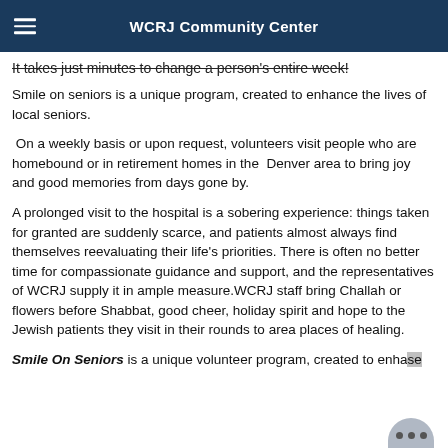WCRJ Community Center
It takes just minutes to change a person's entire week!
Smile on seniors is a unique program, created to enhance the lives of local seniors.
On a weekly basis or upon request, volunteers visit people who are homebound or in retirement homes in the  Denver area to bring joy and good memories from days gone by.
A prolonged visit to the hospital is a sobering experience: things taken for granted are suddenly scarce, and patients almost always find themselves reevaluating their life's priorities. There is often no better time for compassionate guidance and support, and the representatives of WCRJ supply it in ample measure.WCRJ staff bring Challah or flowers before Shabbat, good cheer, holiday spirit and hope to the Jewish patients they visit in their rounds to area places of healing.
Smile On Seniors is a unique volunteer program, created to enhance